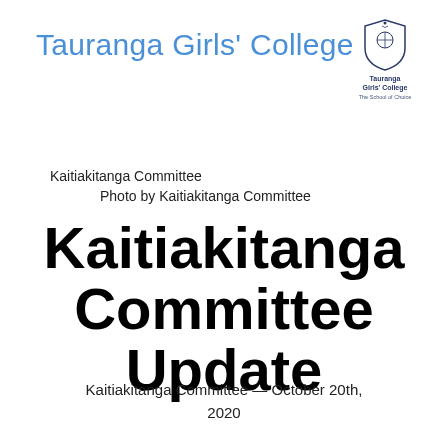Tauranga Girls' College
[Figure (logo): Tauranga Girls' College crest/logo with text 'Tauranga Girls' College' and tagline 'The School of Choice']
Kaitiakitanga Committee
Photo by Kaitiakitanga Committee
Kaitiakitanga Committee Update
Kaitiakitanga Committee — October 20th, 2020